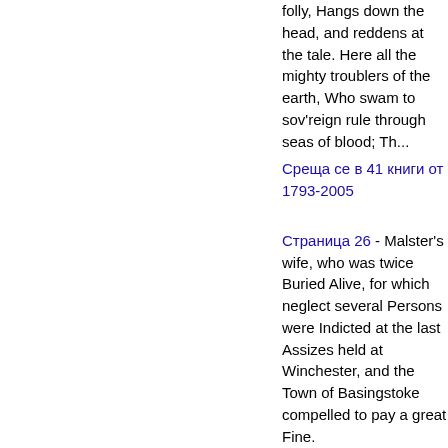folly, Hangs down the head, and reddens at the tale. Here all the mighty troublers of the earth, Who swam to sov'reign rule through seas of blood; Th...
Среща се в 41 книги от 1793-2005
Страница 26 - Malster's wife, who was twice Buried Alive, for which neglect several Persons were Indicted at the last Assizes held at Winchester, and the Town of Basingstoke compelled to pay a great Fine.
Среща се в 6 книги от 1805-1891